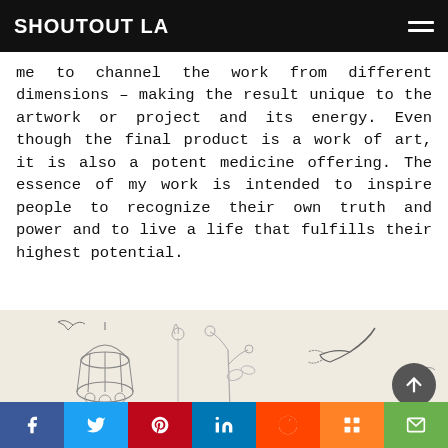SHOUTOUT LA
me to channel the work from different dimensions – making the result unique to the artwork or project and its energy. Even though the final product is a work of art, it is also a potent medicine offering. The essence of my work is intended to inspire people to recognize their own truth and power and to live a life that fulfills their highest potential.
[Figure (illustration): Decorative botanical and bird illustration on a cream/beige background, showing a birdcage with birds and flowers, plant stems with buds, and a hummingbird in pencil/ink style drawing.]
f  t  p  in  reddit  m  email — social sharing bar